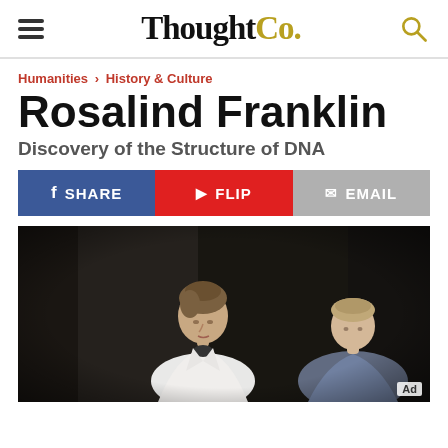ThoughtCo.
Humanities > History & Culture
Rosalind Franklin
Discovery of the Structure of DNA
SHARE | FLIP | EMAIL
[Figure (photo): Two actors on a dark stage, a woman in white jacket in the foreground looking downward and a man in the background]